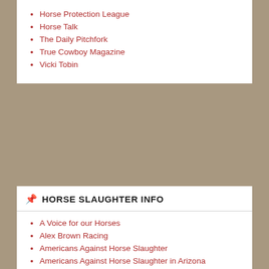Horse Protection League
Horse Talk
The Daily Pitchfork
True Cowboy Magazine
Vicki Tobin
HORSE SLAUGHTER INFO
A Voice for our Horses
Alex Brown Racing
Americans Against Horse Slaughter
Americans Against Horse Slaughter in Arizona
End Equine Slaughter NOW
Habitat for Horses
Horse Protection League
In Defense of Horses – Canada
Manes and Tails Organization
Mary Nash's Horse Meat Site
Respect4Horses
Shedrow Confessions